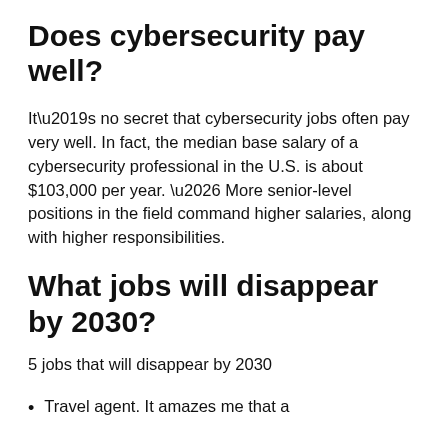Does cybersecurity pay well?
It’s no secret that cybersecurity jobs often pay very well. In fact, the median base salary of a cybersecurity professional in the U.S. is about $103,000 per year. … More senior-level positions in the field command higher salaries, along with higher responsibilities.
What jobs will disappear by 2030?
5 jobs that will disappear by 2030
Travel agent. It amazes me that a